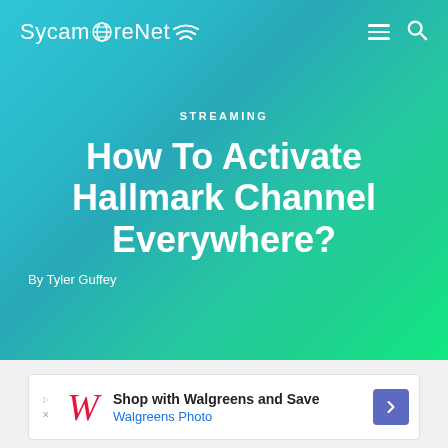SycamoreNet
STREAMING
How To Activate Hallmark Channel Everywhere?
By Tyler Guffey
[Figure (infographic): Advertisement banner: Shop with Walgreens and Save — Walgreens Photo]